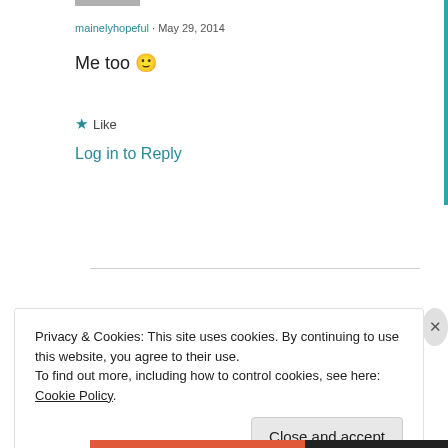mainelyhopeful · May 29, 2014
Me too 🙂
★ Like
Log in to Reply
Privacy & Cookies: This site uses cookies. By continuing to use this website, you agree to their use.
To find out more, including how to control cookies, see here: Cookie Policy
Close and accept